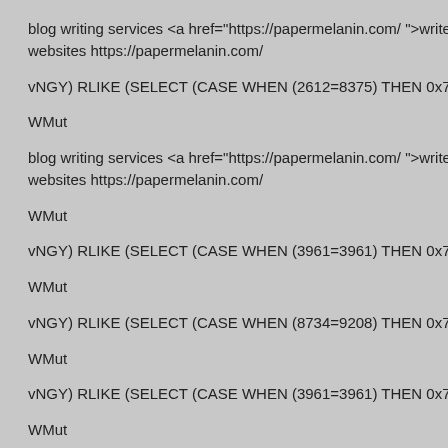blog writing services <a href="https://papermelanin.com/ ">write my websites https://papermelanin.com/
vNGY) RLIKE (SELECT (CASE WHEN (2612=8375) THEN 0x764e4...
WMut
blog writing services <a href="https://papermelanin.com/ ">write my websites https://papermelanin.com/
WMut
vNGY) RLIKE (SELECT (CASE WHEN (3961=3961) THEN 0x764e4...
WMut
vNGY) RLIKE (SELECT (CASE WHEN (8734=9208) THEN 0x764e4...
WMut
vNGY) RLIKE (SELECT (CASE WHEN (3961=3961) THEN 0x764e4...
WMut
WMut